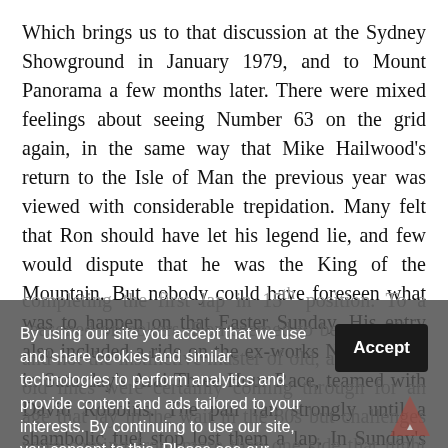Which brings us to that discussion at the Sydney Showground in January 1979, and to Mount Panorama a few months later. There were mixed feelings about seeing Number 63 on the grid again, in the same way that Mike Hailwood's return to the Isle of Man the previous year was viewed with considerable trepidation. Many felt that Ron should have let his legend lie, and few would dispute that he was the King of the Mountain. But nobody could have foreseen what was to happen on that Easter Sunday. His entry also included a ride on the ex-works NCR Ducati in Saturday's Arai Three Hour Race, teamed with David Robbins. The pair ran strongly until a shambolic fuel stop lost them a lap. In Sunday's Senior GP, Ron made a modest start
completing the first lap in 15th position. To a seasoned onlookers, Ron seemed to be struggling and not the instinctive master of old, although the old lines were certainly coming through for an age that lay in the wait in the 80s but challenges were coming from more than one side that night after warned the fence, putting him off line on the exit from downhill corner and over the inside edge of the track. His
By using our site you accept that we use and share cookies and similar technologies to perform analytics and provide content and ads tailored to your interests. By continuing to use our site, you consent to this. Please see our Cookie Policy for more information.